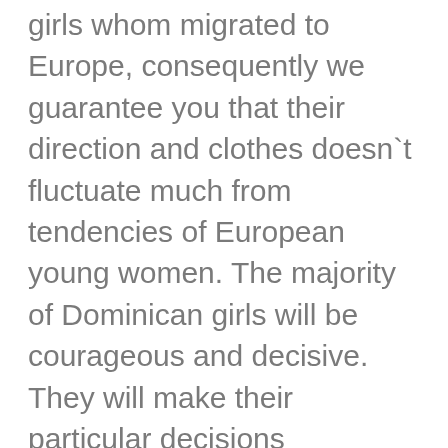girls whom migrated to Europe, consequently we guarantee you that their direction and clothes doesn`t fluctuate much from tendencies of European young women. The majority of Dominican girls will be courageous and decisive. They will make their particular decisions regardless of the pursuits with their household and husband. This distinctive worth ensures the initiative from your aspect of the Dominican wife. While there’s so much to like relating to Dominican Republic, it’s not great here, both. The tradition of the Dominican Republic is tough over the edges.